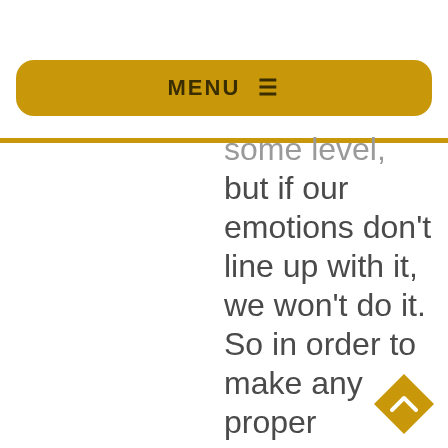MENU ☰
some level, but if our emotions don't line up with it, we won't do it. So in order to make any proper decision and follow it,